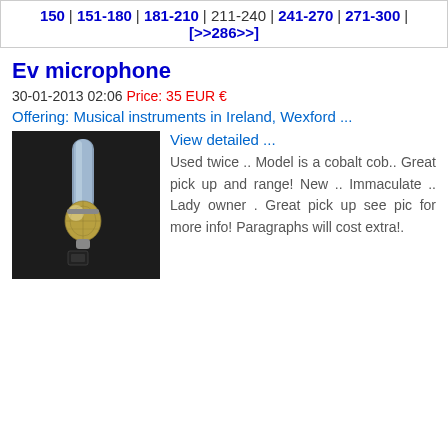150 | 151-180 | 181-210 | 211-240 | 241-270 | 271-300 | [>>286>>]
Ev microphone
30-01-2013 02:06 Price: 35 EUR €
Offering: Musical instruments in Ireland, Wexford ...
[Figure (photo): Photo of a microphone (EV cobalt model) on a dark background]
View detailed ...
Used twice .. Model is a cobalt cob.. Great pick up and range! New .. Immaculate .. Lady owner . Great pick up see pic for more info! Paragraphs will cost extra!.